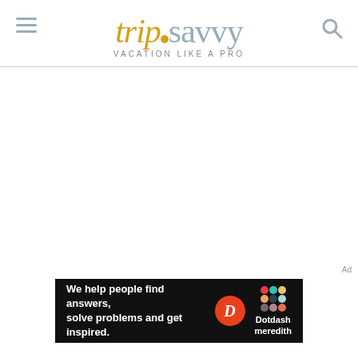tripsavvy VACATION LIKE A PRO
[Figure (screenshot): White blank content area (main page body)]
Ad
[Figure (infographic): Dotdash Meredith advertisement banner: black background, text 'We help people find answers, solve problems and get inspired.' with Dotdash Meredith logo]